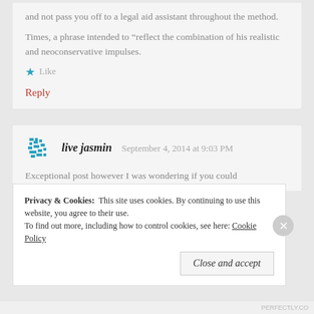and not pass you off to a legal aid assistant throughout the method.
Times, a phrase intended to “reflect the combination of his realistic and neoconservative impulses.
Like
Reply
live jasmin   September 4, 2014 at 9:03 PM
Exceptional post however I was wondering if you could
Privacy & Cookies:  This site uses cookies. By continuing to use this website, you agree to their use.
To find out more, including how to control cookies, see here: Cookie Policy
Close and accept